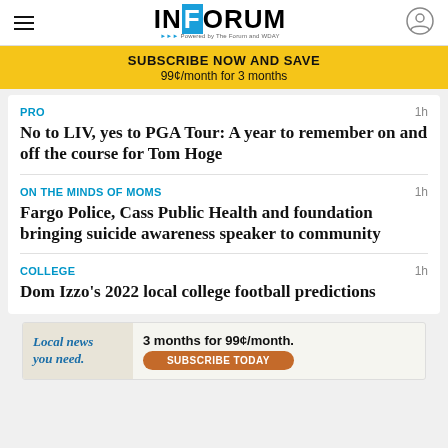INFORUM - Powered by The Forum and WDAY
SUBSCRIBE NOW AND SAVE
99¢/month for 3 months
PRO
1h
No to LIV, yes to PGA Tour: A year to remember on and off the course for Tom Hoge
ON THE MINDS OF MOMS
1h
Fargo Police, Cass Public Health and foundation bringing suicide awareness speaker to community
COLLEGE
1h
Dom Izzo's 2022 local college football predictions
[Figure (infographic): Advertisement banner: Local news you need. 3 months for 99¢/month. SUBSCRIBE TODAY button.]